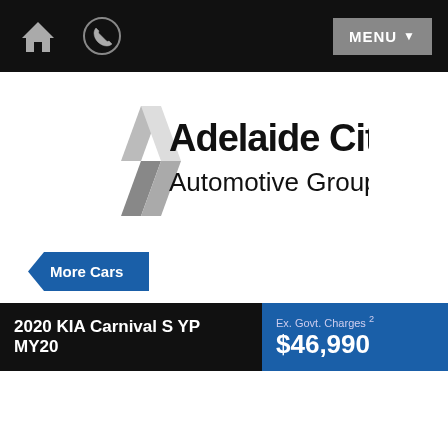Home | Phone | MENU
[Figure (logo): Adelaide City Automotive Group logo with diamond/chevron graphic in grey and black text]
More Cars
2020 KIA Carnival S YP MY20 | Ex. Govt. Charges 2 | $46,990